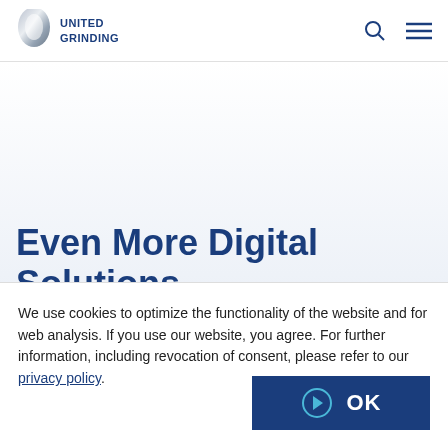[Figure (logo): United Grinding logo with metallic ring graphic and blue UNITED GRINDING text]
Even More Digital Solutions Ready...
We use cookies to optimize the functionality of the website and for web analysis. If you use our website, you agree. For further information, including revocation of consent, please refer to our privacy policy.